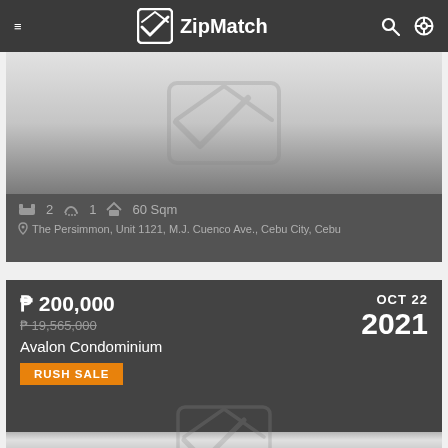ZipMatch
[Figure (screenshot): Listing card with placeholder image showing bed=2, bath=1, 60 Sqm, location: The Persimmon, Unit 1121, M.J. Cuenco Ave., Cebu City, Cebu]
[Figure (screenshot): Listing card for Avalon Condominium, price P 200,000, original price P 19,565,000 (strikethrough), RUSH SALE badge, date OCT 22 2021, with placeholder image below]